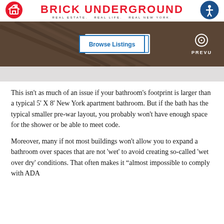BRICK UNDERGROUND
REAL ESTATE. REAL LIFE. REAL NEW YORK.
[Figure (photo): Advertisement banner for PREVU real estate with 'Browse Listings' button overlay on a dark wood/stairs background image]
This isn't as much of an issue if your bathroom's footprint is larger than a typical 5' X 8' New York apartment bathroom. But if the bath has the typical smaller pre-war layout, you probably won't have enough space for the shower or be able to meet code.
Moreover, many if not most buildings won't allow you to expand a bathroom over spaces that are not 'wet' to avoid creating so-called 'wet over dry' conditions. That often makes it “almost impossible to comply with ADA